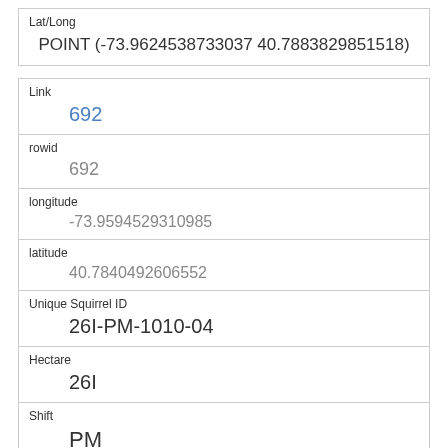| Lat/Long |
| --- |
| POINT (-73.9624538733037 40.7883829851518) |
| Link |
| --- |
| 692 |
| rowid |
| --- |
| 692 |
| longitude |
| --- |
| -73.9594529310985 |
| latitude |
| --- |
| 40.7840492606552 |
| Unique Squirrel ID |
| --- |
| 26I-PM-1010-04 |
| Hectare |
| --- |
| 26I |
| Shift |
| --- |
| PM |
| Date |
| --- |
| 10102018 |
| Hectare Squirrel Number |
| --- |
|  |